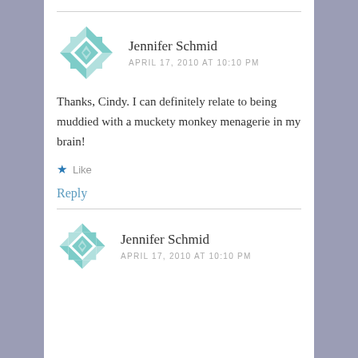Jennifer Schmid
APRIL 17, 2010 AT 10:10 PM
Thanks, Cindy. I can definitely relate to being muddied with a muckety monkey menagerie in my brain!
Like
Reply
Jennifer Schmid
APRIL 17, 2010 AT 10:10 PM